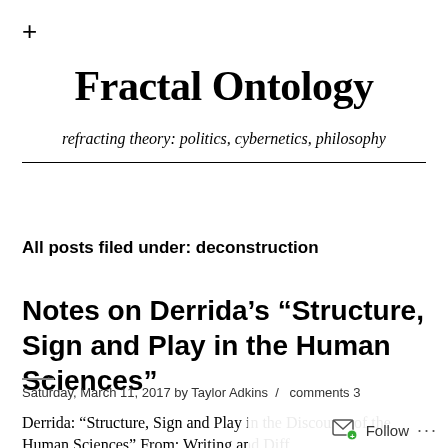+
Fractal Ontology
refracting theory: politics, cybernetics, philosophy
All posts filed under: deconstruction
Notes on Derrida’s “Structure, Sign and Play in the Human Sciences”
Saturday, March 11, 2017 by Taylor Adkins  /  comments 3
Derrida: “Structure, Sign and Play in the Discourse of the Human Sciences” From: Writing and Diff…